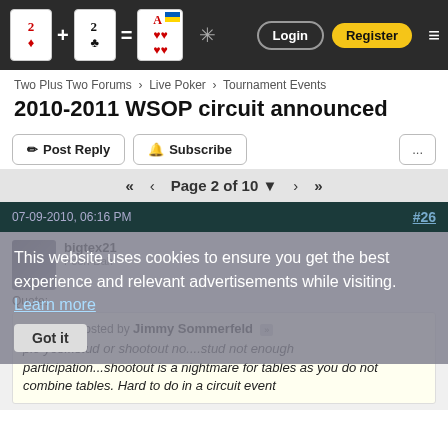Two Plus Two Forums site header with login and register buttons
Two Plus Two Forums > Live Poker > Tournament Events
2010-2011 WSOP circuit announced
Post Reply | Subscribe | ...
<< < Page 2 of 10 > >>
07-09-2010, 06:16 PM  #26
bigtex21
Pooh-Bah
This website uses cookies to ensure you get the best experience and relevant advertisements while visiting. Learn more  Got it
Quote:
Originally Posted by Jimmy Sommerfeld
plo yes...stud or shootout no....stud not enough participation...shootout is a nightmare for tables as you do not combine tables. Hard to do in a circuit event